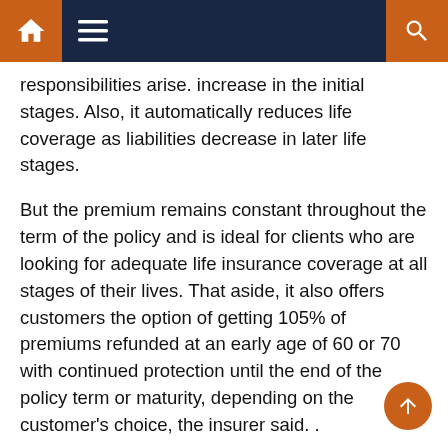Navigation bar with home, menu, and search icons
responsibilities arise. increase in the initial stages. Also, it automatically reduces life coverage as liabilities decrease in later life stages.
But the premium remains constant throughout the term of the policy and is ideal for clients who are looking for adequate life insurance coverage at all stages of their lives. That aside, it also offers customers the option of getting 105% of premiums refunded at an early age of 60 or 70 with continued protection until the end of the policy term or maturity, depending on the customer's choice, the insurer said. .
The level coverage variant is ideal for people looking for a term insurance plan that offers a survivor benefit as well as a fixed death benefit, the company said.